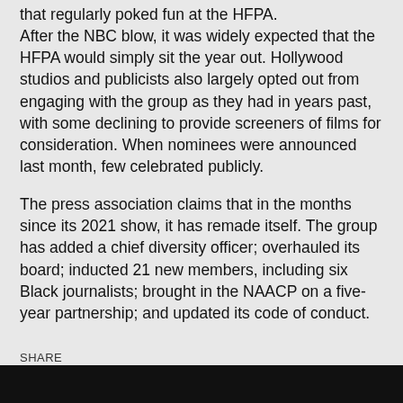that regularly poked fun at the HFPA. After the NBC blow, it was widely expected that the HFPA would simply sit the year out. Hollywood studios and publicists also largely opted out from engaging with the group as they had in years past, with some declining to provide screeners of films for consideration. When nominees were announced last month, few celebrated publicly.
The press association claims that in the months since its 2021 show, it has remade itself. The group has added a chief diversity officer; overhauled its board; inducted 21 new members, including six Black journalists; brought in the NAACP on a five-year partnership; and updated its code of conduct.